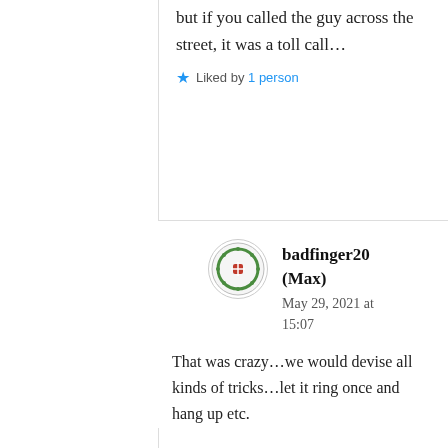but if you called the guy across the street, it was a toll call...
Liked by 1 person
badfinger20 (Max)
May 29, 2021 at 15:07
That was crazy...we would devise all kinds of tricks...let it ring once and hang up etc.